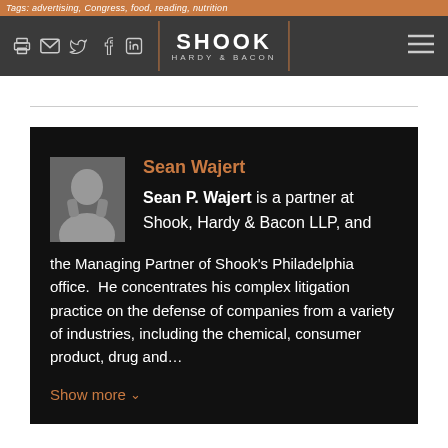Tags: advertising, Congress, food, reading, nutrition
[Figure (logo): Shook Hardy & Bacon law firm logo with navigation icons (print, email, Twitter, Facebook, LinkedIn) and hamburger menu on dark gray header bar]
Sean Wajert
Sean P. Wajert is a partner at Shook, Hardy & Bacon LLP, and the Managing Partner of Shook's Philadelphia office.  He concentrates his complex litigation practice on the defense of companies from a variety of industries, including the chemical, consumer product, drug and...
Show more